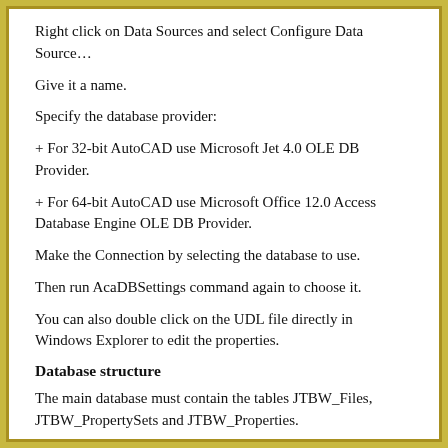Right click on Data Sources and select Configure Data Source…
Give it a name.
Specify the database provider:
+ For 32-bit AutoCAD use Microsoft Jet 4.0 OLE DB Provider.
+ For 64-bit AutoCAD use Microsoft Office 12.0 Access Database Engine OLE DB Provider.
Make the Connection by selecting the database to use.
Then run AcaDBSettings command again to choose it.
You can also double click on the UDL file directly in Windows Explorer to edit the properties.
Database structure
The main database must contain the tables JTBW_Files, JTBW_PropertySets and JTBW_Properties.
Put the database in another folder than where this app is installed and make sure it is backed up.
The other tables that contain the actual data can be located in the same or in one or more other databases.